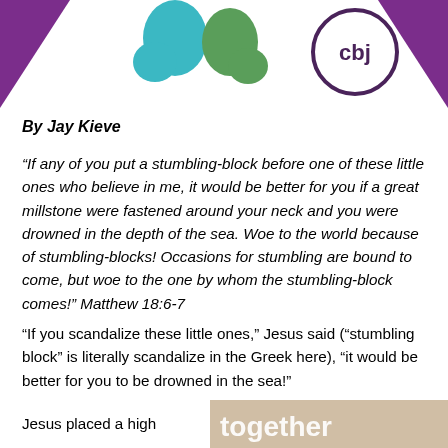[Figure (logo): Header with teal and green blob shapes (quotation marks), a purple circular CBJ logo, and purple triangle corner decorations on white background]
By Jay Kieve
“If any of you put a stumbling-block before one of these little ones who believe in me, it would be better for you if a great millstone were fastened around your neck and you were drowned in the depth of the sea. Woe to the world because of stumbling-blocks! Occasions for stumbling are bound to come, but woe to the one by whom the stumbling-block comes!” Matthew 18:6-7
“If you scandalize these little ones,” Jesus said (“stumbling block” is literally scandalize in the Greek here), “it would be better for you to be drowned in the sea!”
Jesus placed a high
[Figure (photo): Partial image showing the word 'together' in large text overlaid on what appears to be a photo of people]